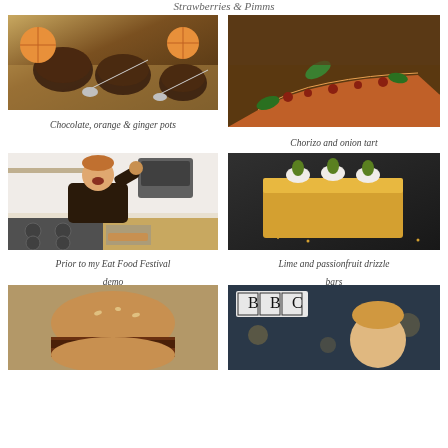Strawberries & Pimms
[Figure (photo): Chocolate, orange & ginger pots — dessert pots with oranges and spoons on wooden board]
Chocolate, orange & ginger pots
[Figure (photo): Chorizo and onion tart — long rectangular tart with green basil leaves]
Chorizo and onion tart
[Figure (photo): Prior to my Eat Food Festival demo — chef in dark apron holding food, kitchen background]
Prior to my Eat Food Festival demo
[Figure (photo): Lime and passionfruit drizzle bars — golden rectangular cake slices with cream topping]
Lime and passionfruit drizzle bars
[Figure (photo): Bun or bread roll cut open showing filling]
[Figure (photo): BBC logo overlay on person's face in dim restaurant setting]